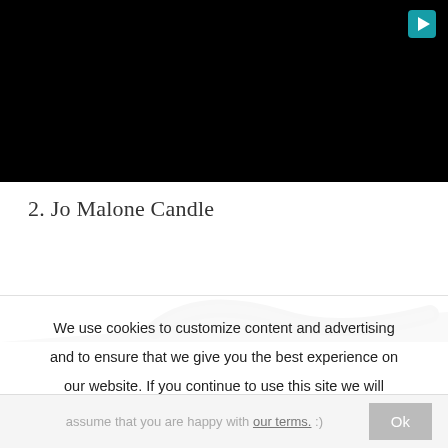[Figure (screenshot): Black video player area with a teal/cyan play button icon in the top-right corner]
2. Jo Malone Candle
[Figure (photo): Partial image of a Jo Malone candle wick/rope visible along the bottom of the content area]
We use cookies to customize content and advertising and to ensure that we give you the best experience on our website. If you continue to use this site we will assume that you are happy with our terms. :)